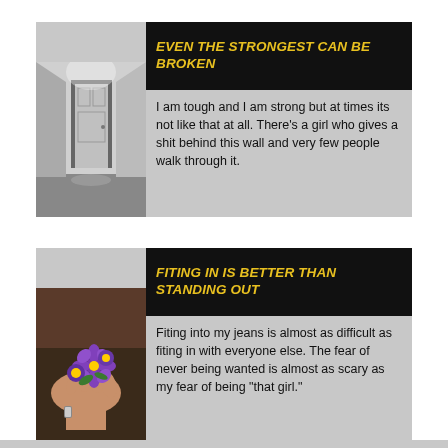[Figure (photo): Black and white photo of an empty room with a door and light coming through]
EVEN THE STRONGEST CAN BE BROKEN
I am tough and I am strong but at times its not like that at all. There's a girl who gives a shit behind this wall and very few people walk through it.
[Figure (photo): Photo of a hand wearing a purple flower wrist corsage]
FITING IN IS BETTER THAN STANDING OUT
Fiting into my jeans is almost as difficult as fiting in with everyone else. The fear of never being wanted is almost as scary as my fear of being "that girl."